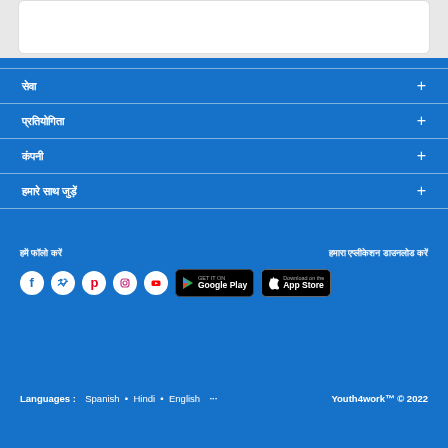और जानें →
सेवा +
प्रतियोगिता +
कंपनी +
हमारे साथ जुड़ें +
हमें फॉलो करें
हमारा एप्लीकेशन डाउनलोड करें
Languages : Spanish • Hindi • English ···
Youth4work™ © 2022